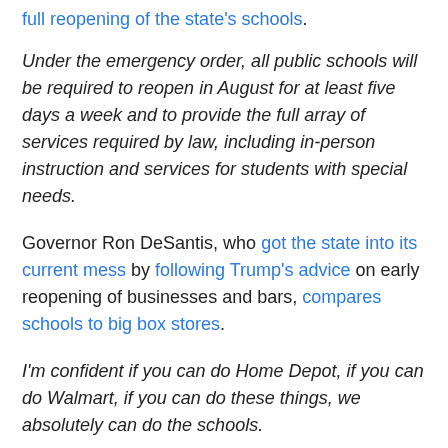full reopening of the state's schools.
Under the emergency order, all public schools will be required to reopen in August for at least five days a week and to provide the full array of services required by law, including in-person instruction and services for students with special needs.
Governor Ron DeSantis, who got the state into its current mess by following Trump's advice on early reopening of businesses and bars, compares schools to big box stores.
I'm confident if you can do Home Depot, if you can do Walmart, if you can do these things, we absolutely can do the schools.
This silly pronouncement has received the widespread disrespect it so richly deserves. California Congressman